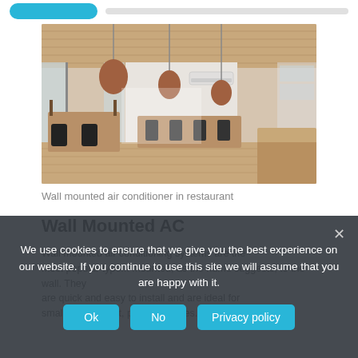[Figure (photo): Wall mounted air conditioner in a modern restaurant interior with wooden ceiling, pendant copper lights, dining tables and chairs, and wood flooring]
Wall mounted air conditioner in restaurant
Wall Mounted AC
Wall mounted air conditioning systems are the most popular type... mounted, as the name suggests, to the wall. They are quick and easy to install and are ideal for smaller restaurant, pubs and cafes. A single unit can
We use cookies to ensure that we give you the best experience on our website. If you continue to use this site we will assume that you are happy with it.